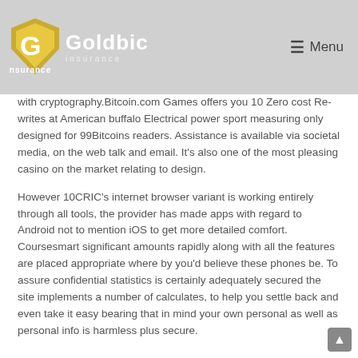Goldbic Insurance — Menu
with cryptography.Bitcoin.com Games offers you 10 Zero cost Re-writes at American buffalo Electrical power sport measuring only designed for 99Bitcoins readers. Assistance is available via societal media, on the web talk and email. It's also one of the most pleasing casino on the market relating to design.
However 10CRIC's internet browser variant is working entirely through all tools, the provider has made apps with regard to Android not to mention iOS to get more detailed comfort. Coursesmart significant amounts rapidly along with all the features are placed appropriate where by you'd believe these phones be. To assure confidential statistics is certainly adequately secured the site implements a number of calculates, to help you settle back and even take it easy bearing that in mind your own personal as well as personal info is harmless plus secure.